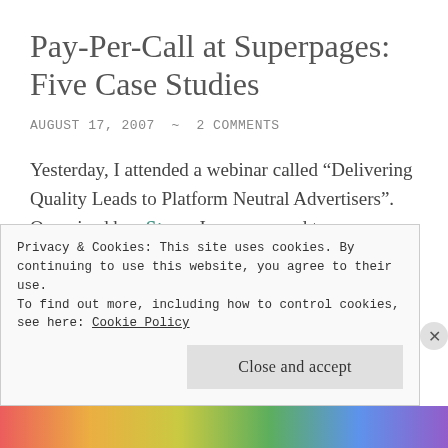Pay-Per-Call at Superpages: Five Case Studies
AUGUST 17, 2007  ~  2 COMMENTS
Yesterday, I attended a webinar called “Delivering Quality Leads to Platform Neutral Advertisers”. Organized by eStara, I was exposed to some interesting pay-per-call data in a presentation by Robyn Rose, Vice President of Marketing for Superpages.com. Five case studies involving
Privacy & Cookies: This site uses cookies. By continuing to use this website, you agree to their use.
To find out more, including how to control cookies, see here: Cookie Policy
Close and accept